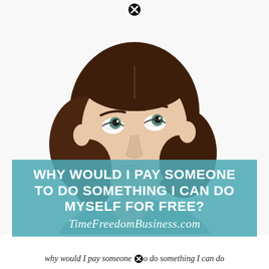[Figure (photo): Young woman with short brown wavy hair in a thinking pose, finger on chin, looking up to the side. White background. A circular X close button appears at the top center.]
WHY WOULD I PAY SOMEONE TO DO SOMETHING I CAN DO MYSELF FOR FREE?
TimeFreedomBusiness.com
why would I pay someone⊗o do something I can do